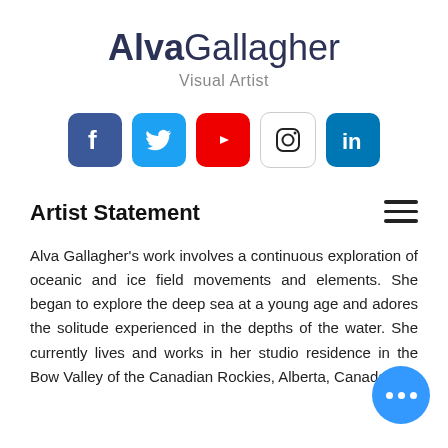AlvaGallagher
Visual Artist
[Figure (illustration): Social media icons row: Facebook, Twitter, YouTube, Instagram, LinkedIn]
Artist Statement
Alva Gallagher's work involves a continuous exploration of oceanic and ice field movements and elements. She began to explore the deep sea at a young age and adores the solitude experienced in the depths of the water. She currently lives and works in her studio residence in the Bow Valley of the Canadian Rockies, Alberta, Canada.